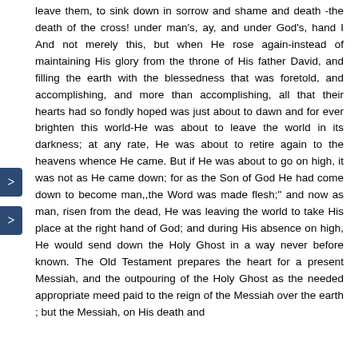leave them, to sink down in sorrow and shame and death -the death of the cross! under man's, ay, and under God's, hand I And not merely this, but when He rose again-instead of maintaining His glory from the throne of His father David, and filling the earth with the blessedness that was foretold, and accomplishing, and more than accomplishing, all that their hearts had so fondly hoped was just about to dawn and for ever brighten this world-He was about to leave the world in its darkness; at any rate, He was about to retire again to the heavens whence He came. But if He was about to go on high, it was not as He came down; for as the Son of God He had come down to become man,,the Word was made flesh;" and now as man, risen from the dead, He was leaving the world to take His place at the right hand of God; and during His absence on high, He would send down the Holy Ghost in a way never before known. The Old Testament prepares the heart for a present Messiah, and the outpouring of the Holy Ghost as the needed appropriate meed paid to the reign of the Messiah over the earth ; but the Messiah, on His death and